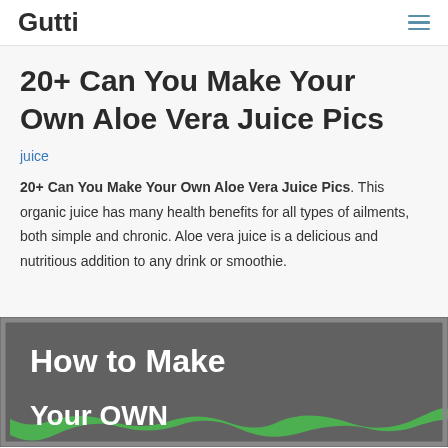Gutti
20+ Can You Make Your Own Aloe Vera Juice Pics
juice
20+ Can You Make Your Own Aloe Vera Juice Pics. This organic juice has many health benefits for all types of ailments, both simple and chronic. Aloe vera juice is a delicious and nutritious addition to any drink or smoothie.
[Figure (infographic): Green infographic image with white bold text reading 'How to Make Your OWN' on a green brushstroke background with gray border]